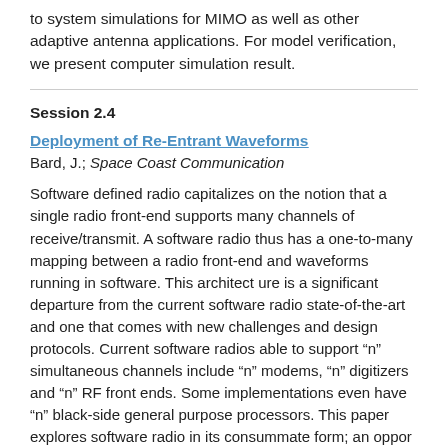to system simulations for MIMO as well as other adaptive antenna applications. For model verification, we present computer simulation result.
Session 2.4
Deployment of Re-Entrant Waveforms
Bard, J.; Space Coast Communication
Software defined radio capitalizes on the notion that a single radio front-end supports many channels of receive/transmit. A software radio thus has a one-to-many mapping between a radio front-end and waveforms running in software. This architect ure is a significant departure from the current software radio state-of-the-art and one that comes with new challenges and design protocols. Current software radios able to support “n” simultaneous channels include “n” modems, “n” digitizers and “n” RF front ends. Some implementations even have “n” black-side general purpose processors. This paper explores software radio in its consummate form; an oppor